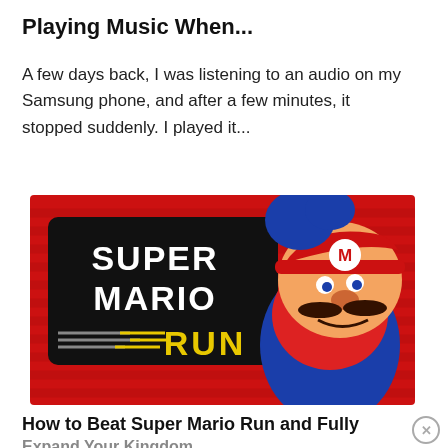Playing Music When...
A few days back, I was listening to an audio on my Samsung phone, and after a few minutes, it stopped suddenly. I played it...
[Figure (photo): Super Mario Run promotional image showing the game logo on a red background with Mario character jumping]
How to Beat Super Mario Run and Fully Expand Your Kingdom
If you've been playing Super Mario Run for a while,